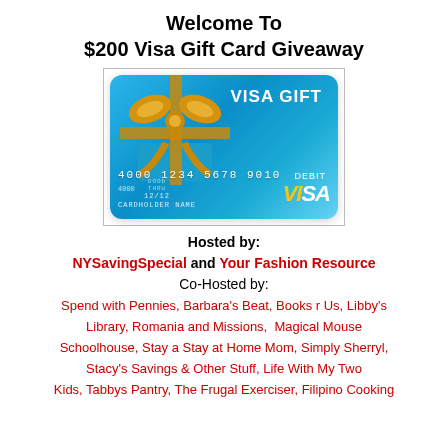Welcome To $200 Visa Gift Card Giveaway
[Figure (illustration): A blue Visa gift card with a gold bow ribbon on top. Card shows number 4000 1234 5678 9010, expiry 12/12, CARDHOLDER NAME, DEBIT label, and VISA logo. Card is shown with a light blue gradient background and has a gift-box appearance.]
Hosted by:
NYSavingSpecial and Your Fashion Resource
Co-Hosted by:
Spend with Pennies, Barbara's Beat, Books r Us, Libby's Library, Romania and Missions, Magical Mouse Schoolhouse, Stay a Stay at Home Mom, Simply Sherryl, Stacy's Savings & Other Stuff, Life With My Two Kids, Tabbys Pantry, The Frugal Exerciser, Filipino Cooking